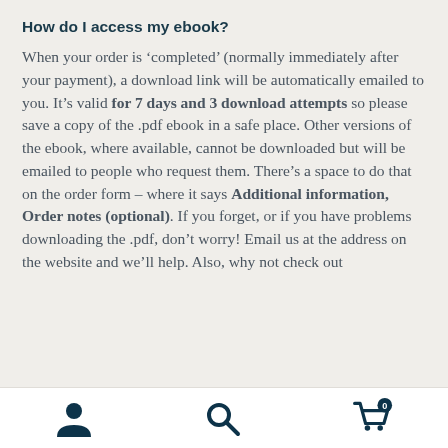How do I access my ebook?
When your order is ‘completed’ (normally immediately after your payment), a download link will be automatically emailed to you. It’s valid for 7 days and 3 download attempts so please save a copy of the .pdf ebook in a safe place. Other versions of the ebook, where available, cannot be downloaded but will be emailed to people who request them. There’s a space to do that on the order form – where it says Additional information, Order notes (optional). If you forget, or if you have problems downloading the .pdf, don’t worry! Email us at the address on the website and we’ll help. Also, why not check out
navigation icons: user, search, cart